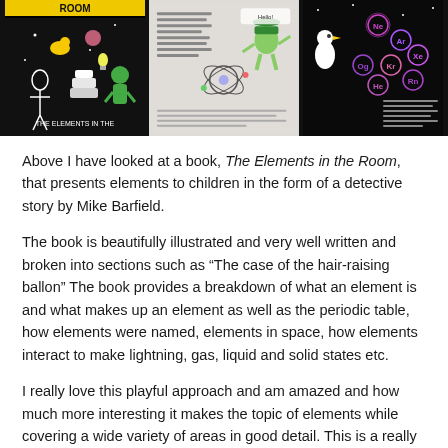[Figure (photo): Three book cover/interior images of 'The Elements in the Room': left is a black cover with illustrated objects, center is a gray interior spread with text and atom diagram, right is a black spread with glowing circular element illustrations.]
Above I have looked at a book, The Elements in the Room, that presents elements to children in the form of a detective story by Mike Barfield.
The book is beautifully illustrated and very well written and broken into sections such as “The case of the hair-raising ballon” The book provides a breakdown of what an element is and what makes up an element as well as the periodic table, how elements were named, elements in space, how elements interact to make lightning, gas, liquid and solid states etc.
I really love this playful approach and am amazed and how much more interesting it makes the topic of elements while covering a wide variety of areas in good detail. This is a really interesting approach and I